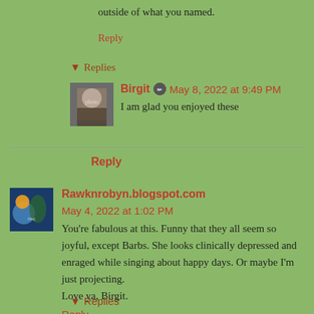outside of what you named.
Reply
▾ Replies
Birgit ✏ May 8, 2022 at 9:49 PM
I am glad you enjoyed these
Reply
Rawknrobyn.blogspot.com  May 4, 2022 at 1:02 PM
You're fabulous at this. Funny that they all seem so joyful, except Barbs. She looks clinically depressed and enraged while singing about happy days. Or maybe I'm just projecting.
Love ya, Birgit.
Reply
▾ Replies